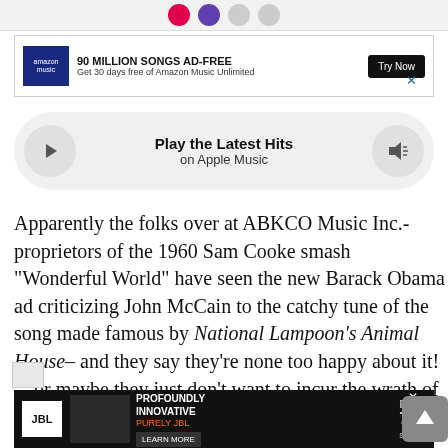[Figure (screenshot): Top strip with social media icon buttons (red, purple, gray circles) on a light gray background]
[Figure (screenshot): Amazon Music advertisement banner: '90 MILLION SONGS AD-FREE — Get 30 days free of Amazon Music Unlimited' with a 'Try Now' button]
[Figure (screenshot): Apple Music player widget: play button on left, 'Play the Latest Hits / on Apple Music' in center, volume/speaker button on right, all on a rounded gray bar]
Apparently the folks over at ABKCO Music Inc.- proprietors of the 1960 Sam Cooke smash “Wonderful World” have seen the new Barack Obama ad criticizing John McCain to the catchy tune of the song made famous by National Lampoon’s Animal House– and they say they’re none too happy about it! …or maybe they just don’t want to incur the wrath of Limba...
[Figure (screenshot): JBL EON700 Series advertisement: 'PROFOUNDLY INNOVATIVE PURELY JBL' with LEARN MORE button, dark/black background, band photo on left]